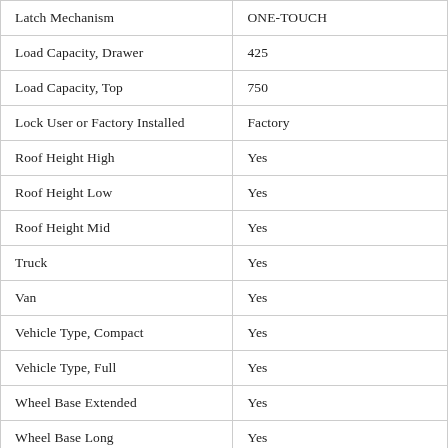| Latch Mechanism | ONE-TOUCH |
| Load Capacity, Drawer | 425 |
| Load Capacity, Top | 750 |
| Lock User or Factory Installed | Factory |
| Roof Height High | Yes |
| Roof Height Low | Yes |
| Roof Height Mid | Yes |
| Truck | Yes |
| Van | Yes |
| Vehicle Type, Compact | Yes |
| Vehicle Type, Full | Yes |
| Wheel Base Extended | Yes |
| Wheel Base Long | Yes |
| Wheel Base Regular | Yes |